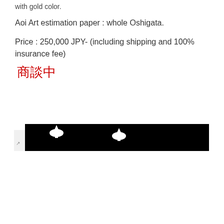with gold color.
Aoi Art estimation paper : whole Oshigata.
Price : 250,000 JPY- (including shipping and 100% insurance fee)
商談中
[Figure (photo): A dark/black image showing white symmetrical decorative or artistic motifs, partially cropped at the bottom of the visible area.]